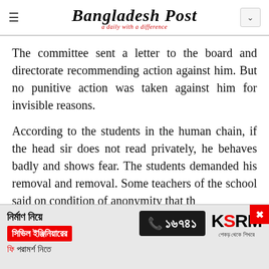Bangladesh Post — a daily with a difference
The committee sent a letter to the board and directorate recommending action against him. But no punitive action was taken against him for invisible reasons.
According to the students in the human chain, if the head sir does not read privately, he behaves badly and shows fear. The students demanded his removal and removal. Some teachers of the school said on condition of anonymity that th
[Figure (advertisement): KSRM advertisement in Bengali: Civil engineer free consultation. Phone number 16741.]